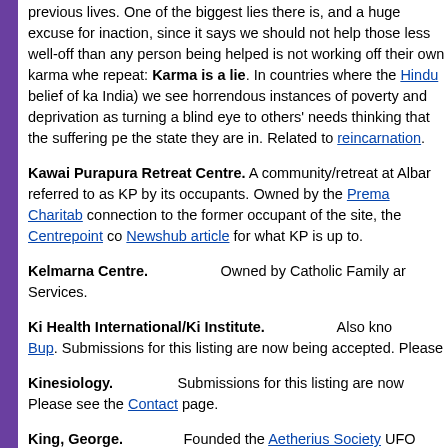previous lives. One of the biggest lies there is, and a huge excuse for inaction, since it says we should not help those less well-off than any person being helped is not working off their own karma whe repeat: Karma is a lie. In countries where the Hindu belief of ka India) we see horrendous instances of poverty and deprivation as turning a blind eye to others' needs thinking that the suffering pe the state they are in. Related to reincarnation.
Kawai Purapura Retreat Centre. A community/retreat at Albar referred to as KP by its occupants. Owned by the Prema Charitab connection to the former occupant of the site, the Centrepoint co Newshub article for what KP is up to.
Kelmarna Centre. Owned by Catholic Family ar Services.
Ki Health International/Ki Institute. Also kno Bup. Submissions for this listing are now being accepted. Please
Kinesiology. Submissions for this listing are now Please see the Contact page.
King, George. Founded the Aetherius Society UFO King is probably best summed up as "London taxi driver turned c claims included preventing a massive earthquake on the San And saving thousands of lives. Claimed to be a prince and to have tit